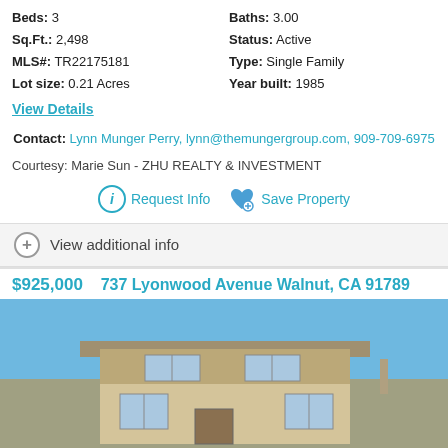Beds: 3
Baths: 3.00
Sq.Ft.: 2,498
Status: Active
MLS#: TR22175181
Type: Single Family
Lot size: 0.21 Acres
Year built: 1985
View Details
Contact: Lynn Munger Perry, lynn@themungergroup.com, 909-709-6975
Courtesy: Marie Sun - ZHU REALTY & INVESTMENT
Request Info
Save Property
View additional info
$925,000   737 Lyonwood Avenue Walnut, CA 91789
[Figure (photo): Exterior photo of a single-family home with beige/tan stucco siding and a flat roofline against a blue sky, at 737 Lyonwood Avenue Walnut, CA 91789]